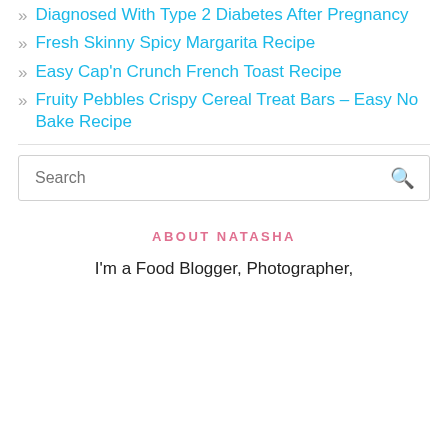Diagnosed With Type 2 Diabetes After Pregnancy
Fresh Skinny Spicy Margarita Recipe
Easy Cap'n Crunch French Toast Recipe
Fruity Pebbles Crispy Cereal Treat Bars – Easy No Bake Recipe
Search
ABOUT NATASHA
I'm a Food Blogger, Photographer,